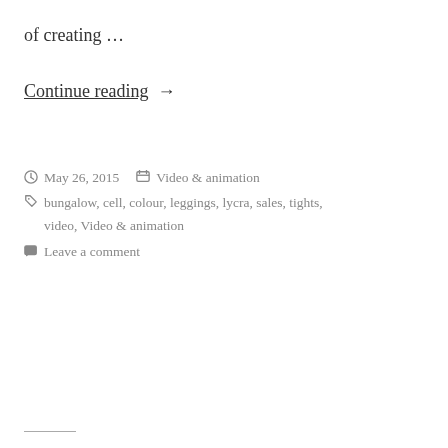of creating …
Continue reading →
May 26, 2015   Video & animation
bungalow, cell, colour, leggings, lycra, sales, tights, video, Video & animation
Leave a comment